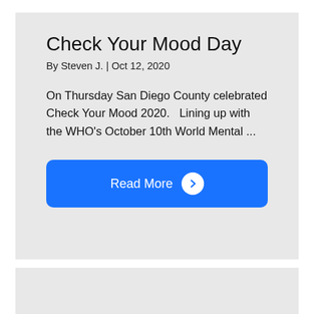Check Your Mood Day
By Steven J. | Oct 12, 2020
On Thursday San Diego County celebrated Check Your Mood 2020.   Lining up with the WHO's October 10th World Mental ...
Read More